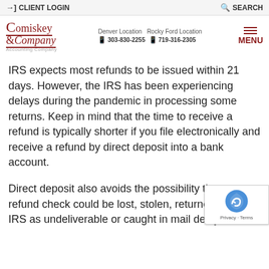→] CLIENT LOGIN   🔍 SEARCH
Comiskey & Company — Denver Location Rocky Ford Location — 303-830-2255 — 719-316-2305 — MENU
IRS expects most refunds to be issued within 21 days. However, the IRS has been experiencing delays during the pandemic in processing some returns. Keep in mind that the time to receive a refund is typically shorter if you file electronically and receive a refund by direct deposit into a bank account.
Direct deposit also avoids the possibility that a refund check could be lost, stolen, returned to the IRS as undeliverable or caught in mail delays.